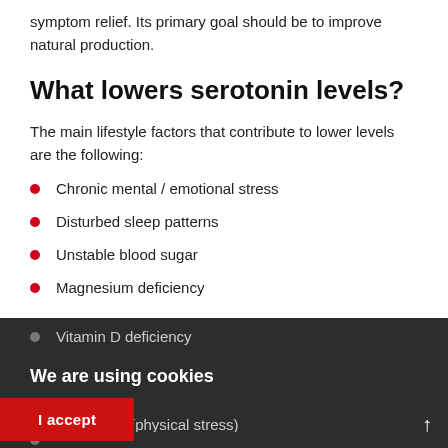symptom relief. Its primary goal should be to improve natural production.
What lowers serotonin levels?
The main lifestyle factors that contribute to lower levels are the following:
Chronic mental / emotional stress
Disturbed sleep patterns
Unstable blood sugar
Magnesium deficiency
Vitamin D deficiency
Leaky Gut
...mmation (physical stress)
We are using cookies
I accept